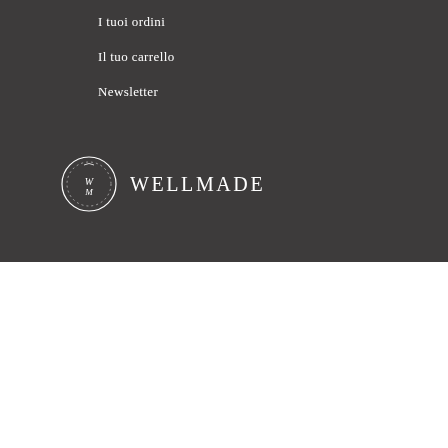I tuoi ordini
Il tuo carrello
Newsletter
[Figure (logo): Wellmade brand logo: circular monogram with W and M letters inside, followed by WELLMADE text in caps]
We use cookies on our website to give you the most relevant experience by remembering your preferences and repeat visits. By clicking “Accept All”, you consent to the use of ALL the cookies. However, you may visit 'Cookie Settings' to provide a controlled consent. Read More
Cookie Settings
ACCEPT ALL